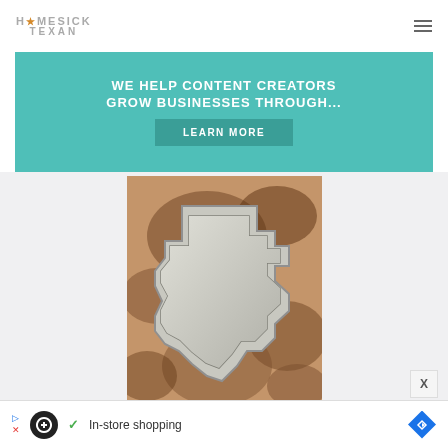HOMESICK TEXAN
[Figure (infographic): Teal advertisement banner with white bold text reading 'WE HELP CONTENT CREATORS GROW BUSINESSES THROUGH...' and a darker teal 'LEARN MORE' button]
[Figure (photo): A Texas-shaped metal cookie cutter on a brown mottled surface/background]
[Figure (infographic): Bottom advertisement bar with a circular black icon, green checkmark, text 'In-store shopping', and a blue diamond navigation icon]